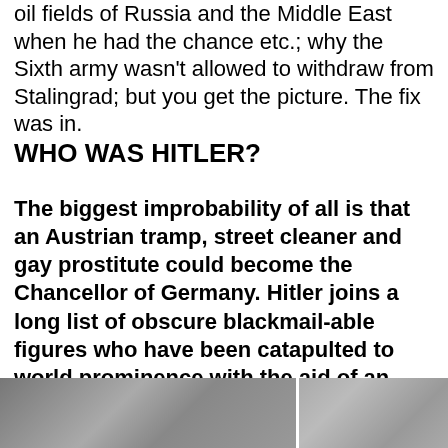oil fields of Russia and the Middle East when he had the chance etc.; why the Sixth army wasn't allowed to withdraw from Stalingrad; but you get the picture. The fix was in.
WHO WAS HITLER?
The biggest improbability of all is that an Austrian tramp, street cleaner and gay prostitute could become the Chancellor of Germany. Hitler joins a long list of obscure blackmail-able figures who have been catapulted to world prominence with the aid of an unseen hand.
[Figure (photo): Black and white photographs of historical figures, partially visible at the bottom of the page.]